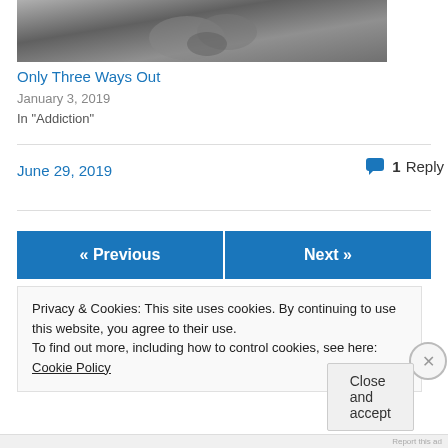[Figure (photo): Black and white photograph of hands, appears to show a person holding something]
Only Three Ways Out
January 3, 2019
In "Addiction"
June 29, 2019
1 Reply
« Previous
Next »
Privacy & Cookies: This site uses cookies. By continuing to use this website, you agree to their use.
To find out more, including how to control cookies, see here: Cookie Policy
Close and accept